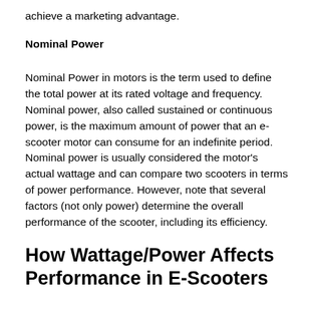achieve a marketing advantage.
Nominal Power
Nominal Power in motors is the term used to define the total power at its rated voltage and frequency. Nominal power, also called sustained or continuous power, is the maximum amount of power that an e-scooter motor can consume for an indefinite period. Nominal power is usually considered the motor's actual wattage and can compare two scooters in terms of power performance. However, note that several factors (not only power) determine the overall performance of the scooter, including its efficiency.
How Wattage/Power Affects Performance in E-Scooters